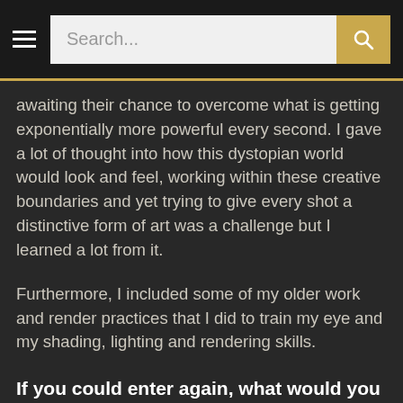Search...
awaiting their chance to overcome what is getting exponentially more powerful every second. I gave a lot of thought into how this dystopian world would look and feel, working within these creative boundaries and yet trying to give every shot a distinctive form of art was a challenge but I learned a lot from it.
Furthermore, I included some of my older work and render practices that I did to train my eye and my shading, lighting and rendering skills.
If you could enter again, what would you do differently?
Since I stumbled across the awards very closely to its